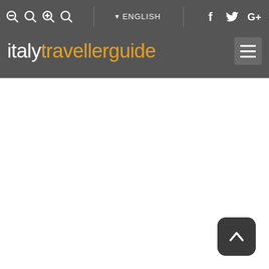italytravellerguide — ENGLISH navigation header with search icons, language selector, social icons (Facebook, Twitter, Google+), logo, and menu button
[Figure (screenshot): Back-to-top button: dark rounded square with white upward chevron arrow, positioned bottom-right of page]